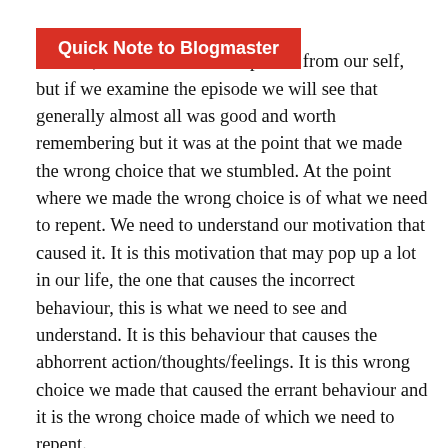Quick Note to Blogmaster
shut off, we hide the whole episode from our self, but if we examine the episode we will see that generally almost all was good and worth remembering but it was at the point that we made the wrong choice that we stumbled. At the point where we made the wrong choice is of what we need to repent. We need to understand our motivation that caused it. It is this motivation that may pop up a lot in our life, the one that causes the incorrect behaviour, this is what we need to see and understand. It is this behaviour that causes the abhorrent action/thoughts/feelings. It is this wrong choice we made that caused the errant behaviour and it is the wrong choice made of which we need to repent.
18 Come now, and let us reason together, saith the LORD, though your sins be as scarlet, they shall be